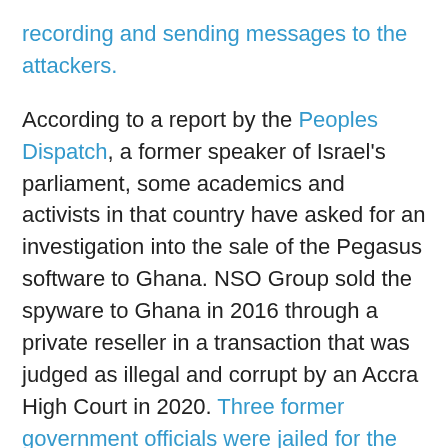recording and sending messages to the attackers.
According to a report by the Peoples Dispatch, a former speaker of Israel's parliament, some academics and activists in that country have asked for an investigation into the sale of the Pegasus software to Ghana. NSO Group sold the spyware to Ghana in 2016 through a private reseller in a transaction that was judged as illegal and corrupt by an Accra High Court in 2020. Three former government officials were jailed for the act.
The report states that on behalf of Israeli parliament's former speaker, Avrum Burg, prominent sociologist Eva Illouz and 51 other